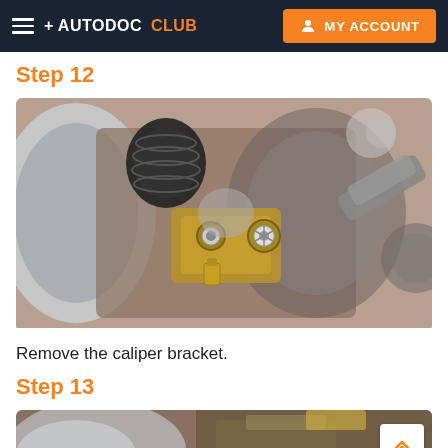AUTODOC CLUB | MY ACCOUNT
Step 12
[Figure (photo): Close-up photograph of a car's wheel hub assembly showing a brake caliper bracket with rusted bolts being worked on with a tool. The brake disc, wheel hub, and various mechanical components are visible.]
Remove the caliper bracket.
Step 13
[Figure (photo): Partial close-up photograph of a car mechanical component, showing hands or tools working on what appears to be a brake or suspension part. The image is partially cut off at the bottom of the page.]